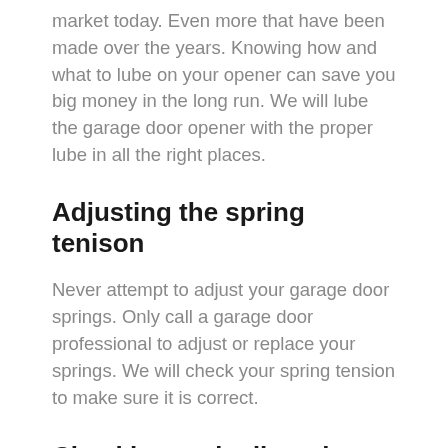market today. Even more that have been made over the years. Knowing how and what to lube on your opener can save you big money in the long run. We will lube the garage door opener with the proper lube in all the right places.
Adjusting the spring tenison
Never attempt to adjust your garage door springs. Only call a garage door professional to adjust or replace your springs. We will check your spring tension to make sure it is correct.
Checking and adjust the clutch settings
Each garage door opener has a safety system in it that allows the door to come down and hit something